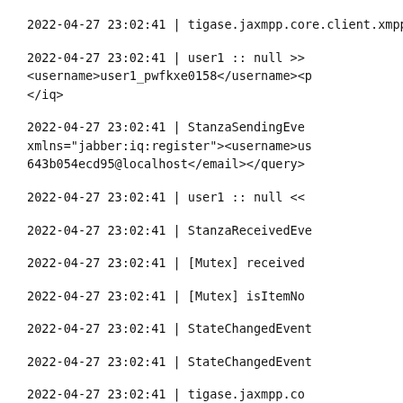2022-04-27 23:02:41 | tigase.jaxmpp.core.client.xmpp.modules
2022-04-27 23:02:41 | user1 :: null >> <username>user1_pwfkxe0158</username><p </iq>
2022-04-27 23:02:41 | StanzaSendingEve xmlns="jabber:iq:register"><username>us 643b054ecd95@localhost</email></query>
2022-04-27 23:02:41 | user1 :: null <<
2022-04-27 23:02:41 | StanzaReceivedEve
2022-04-27 23:02:41 | [Mutex] received
2022-04-27 23:02:41 | [Mutex] isItemNo
2022-04-27 23:02:41 | StateChangedEvent
2022-04-27 23:02:41 | StateChangedEvent
2022-04-27 23:02:41 | tigase.jaxmpp.co
2022-04-27 23:02:41 | tigase.jaxmpp.co